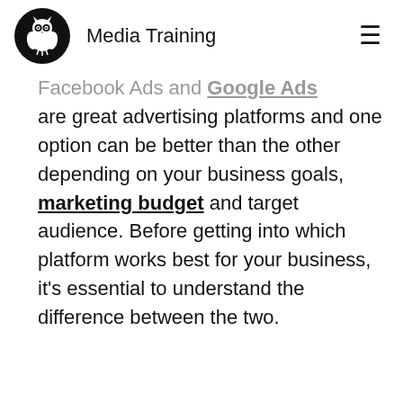Media Training
Facebook Ads and Google Ads are great advertising platforms and one option can be better than the other depending on your business goals, marketing budget and target audience. Before getting into which platform works best for your business, it’s essential to understand the difference between the two.